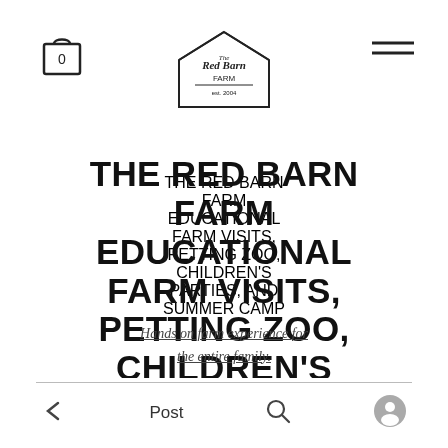The Red Barn Farm logo, cart icon with 0, and menu icon
THE RED BARN FARM EDUCATIONAL FARM VISITS, PETTING ZOO, CHILDREN'S PARTIES, AND SUMMER CAMP
Hands on farm experience for the entire family.
← Post 🔍 👤